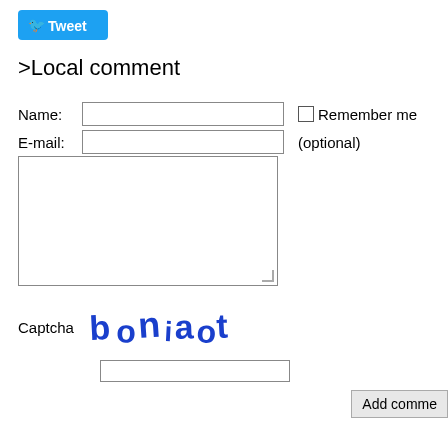[Figure (screenshot): Twitter Tweet button with bird icon]
>Local comment
Name: [input field]  Remember me (checkbox)
E-mail: [input field]  (optional)
[comment textarea]
Captcha  boniaot [captcha image]
[captcha input field]
Add comment [button]